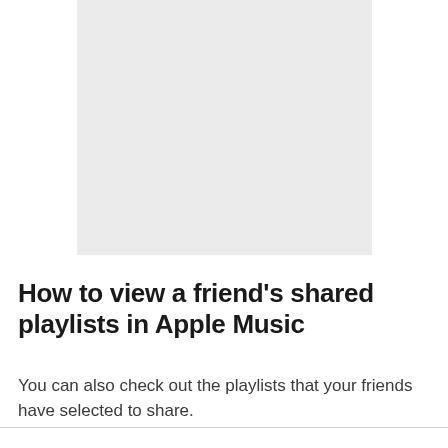[Figure (other): Light gray placeholder rectangle representing an image or screenshot]
How to view a friend's shared playlists in Apple Music
You can also check out the playlists that your friends have selected to share.